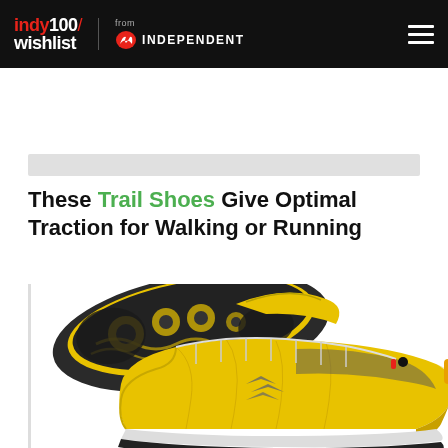indy100/wishlist from INDEPENDENT
These Trail Shoes Give Optimal Traction for Walking or Running
[Figure (photo): Two yellow trail running shoes with black/dark grey textured soles and grey accents. One shoe shows the bottom sole tread pattern prominently. The shoes are bright yellow with mesh upper and have a logo pattern on the side.]